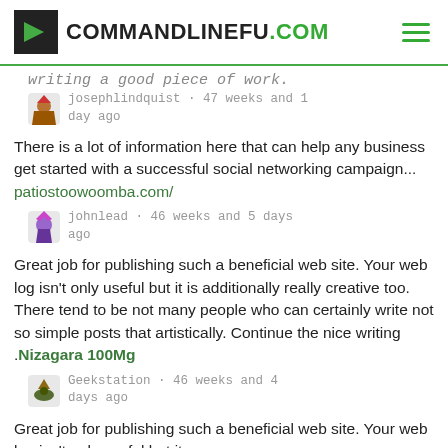COMMANDLINEFU.COM
writing a good piece of work.
josephlindquist · 47 weeks and 1 day ago
There is a lot of information here that can help any business get started with a successful social networking campaign... patiostoowoomba.com/
johnlead · 46 weeks and 5 days ago
Great job for publishing such a beneficial web site. Your web log isn't only useful but it is additionally really creative too. There tend to be not many people who can certainly write not so simple posts that artistically. Continue the nice writing .Nizagara 100Mg
Geekstation · 46 weeks and 4 days ago
Great job for publishing such a beneficial web site. Your web log isn't only useful but it